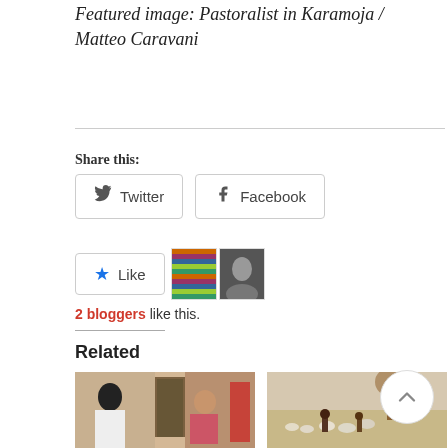Featured image: Pastoralist in Karamoja / Matteo Caravani
Share this:
Twitter  Facebook
[Figure (other): Like button with star icon and two blogger avatars]
2 bloggers like this.
Related
[Figure (photo): Indoor scene, people in a room]
[Figure (photo): Outdoor pastoral scene with animals and people]